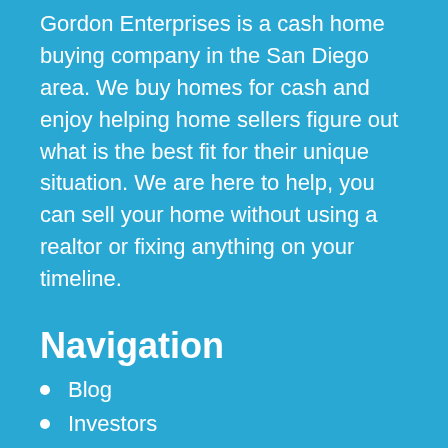Gordon Enterprises is a cash home buying company in the San Diego area. We buy homes for cash and enjoy helping home sellers figure out what is the best fit for their unique situation. We are here to help, you can sell your home without using a realtor or fixing anything on your timeline.
Navigation
Blog
Investors
Contact Information